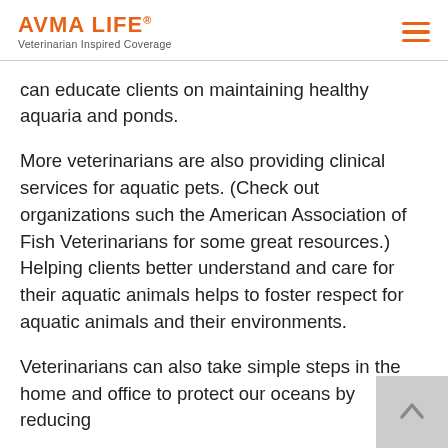AVMA LIFE® Veterinarian Inspired Coverage
can educate clients on maintaining healthy aquaria and ponds.
More veterinarians are also providing clinical services for aquatic pets. (Check out organizations such the American Association of Fish Veterinarians for some great resources.) Helping clients better understand and care for their aquatic animals helps to foster respect for aquatic animals and their environments.
Veterinarians can also take simple steps in the home and office to protect our oceans by reducing